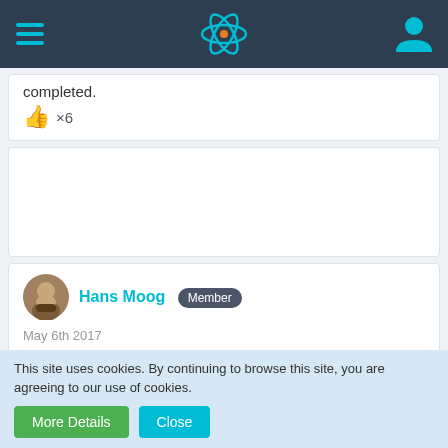Navigation bar with hamburger menu, React logo, and user icon
completed.
👍 ×6
[Figure (other): Empty white card / blank post area]
Hans Moog Member
May 6th 2017
I wonder what people will conclude regarding Rossi if the test turns out to be positive, since me356 early replication attempts were pretty much replications of rossis tech
This site uses cookies. By continuing to browse this site, you are agreeing to our use of cookies.